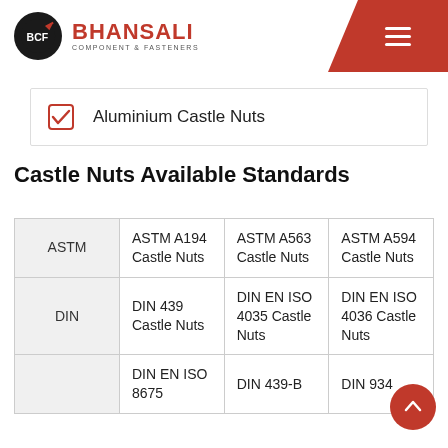BHANSALI COMPONENT & FASTENERS
Aluminium Castle Nuts
Castle Nuts Available Standards
|  | Col1 | Col2 | Col3 |
| --- | --- | --- | --- |
| ASTM | ASTM A194 Castle Nuts | ASTM A563 Castle Nuts | ASTM A594 Castle Nuts |
| DIN | DIN 439 Castle Nuts | DIN EN ISO 4035 Castle Nuts | DIN EN ISO 4036 Castle Nuts |
|  | DIN EN ISO 8675 | DIN 439-B | DIN 934 |